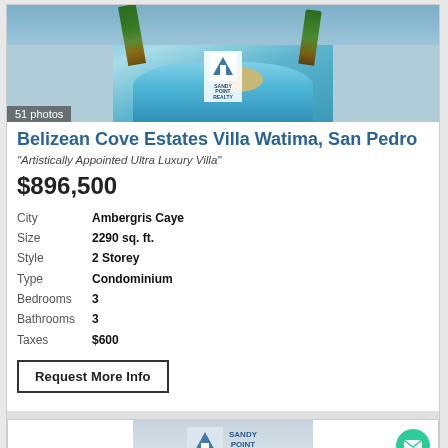[Figure (photo): Aerial view of a tropical resort pool surrounded by palm trees, with turquoise water and sandy areas. Sandy Point Realty logo visible.]
51 photos
Belizean Cove Estates Villa Watima, San Pedro
"Artistically Appointed Ultra Luxury Villa"
$896,500
| Field | Value |
| --- | --- |
| City | Ambergris Caye |
| Size | 2290 sq. ft. |
| Style | 2 Storey |
| Type | Condominium |
| Bedrooms | 3 |
| Bathrooms | 3 |
| Taxes | $600 |
Request More Info
[Figure (logo): Sandy Point Realty logo at bottom of page]